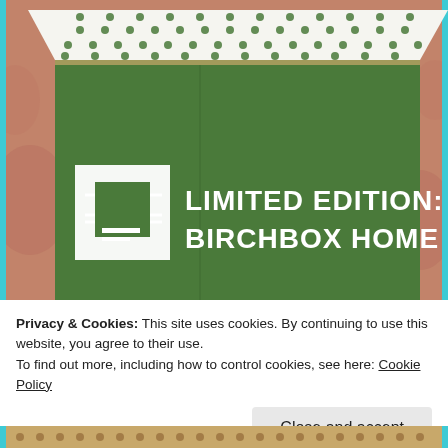[Figure (photo): A green cardboard subscription box with white polka-dot patterned top, displaying the logo and text 'LIMITED EDITION: BIRCHBOX HOME' in white letters on the green side, with a white square logo icon. The box sits on a pinkish floral surface.]
Privacy & Cookies: This site uses cookies. By continuing to use this website, you agree to their use.
To find out more, including how to control cookies, see here: Cookie Policy
Close and accept
[Figure (photo): Partial view of another item at the bottom, brown/tan tones with dotted pattern visible.]